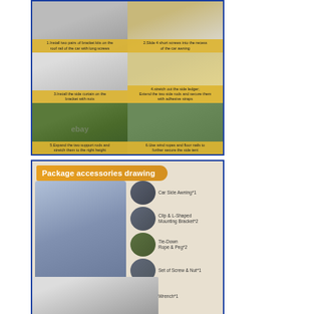[Figure (infographic): 6-step installation instruction grid for car side awning. Steps: 1.Install two pairs of bracket kits on the roof rail of the car with long screws. 2.Slide 4 short screws into the recess of the car awning. 3.Install the side curtain on the bracket with nuts. 4.Stretch out the side ledger; Extend the two side rods and secure them with adhesive straps. 5.Expand the two support rods and stretch them to the right height. 6.Use wind ropes and floor nails to further secure the side tent. Has eBay watermark.]
[Figure (infographic): Package accessories drawing for car side awning product. Shows blue pickup truck with awning on roof. Lists: Car Side Awning*1, Clip & L-Shaped Mounting Bracket*2, Tie-Down Rope & Peg*2, Set of Screw & Nut*1, Wrench*1. Each item shown with circular thumbnail photo.]